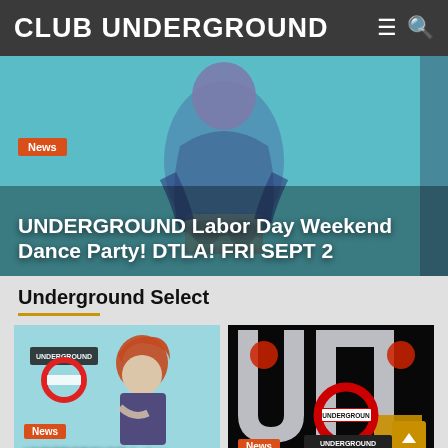CLUB UNDERGROUND
[Figure (photo): Hero image: person crouching/sitting in blue/teal underwater or studio setting with purple outfit, with overlay text and news badge]
News — UNDERGROUND Labor Day Weekend Dance Party! DTLA! FRI SEPT 2
Underground Select
[Figure (photo): Card image: woman with red/orange hair wearing dark outfit, sitting, with Underground logo sign. News badge and title 'UNDERGROUND Labor']
[Figure (photo): Card image: Underground logo/branding graphic on black background with red devil figures. News badge visible at bottom.]